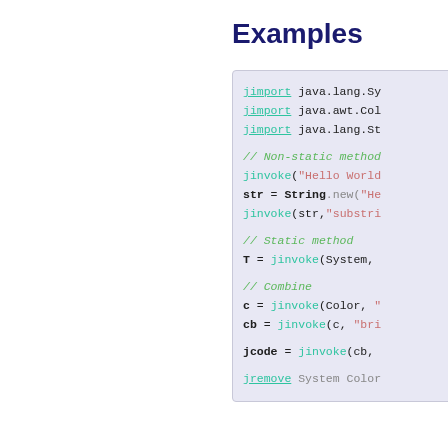Examples
jimport java.lang.Sy
jimport java.awt.Col
jimport java.lang.St

// Non-static method
jinvoke("Hello World
str = String.new("He
jinvoke(str,"substri

// Static method
T = jinvoke(System,

// Combine
c = jinvoke(Color, "
cb = jinvoke(c, "bri

jcode = jinvoke(cb,

jremove System Color